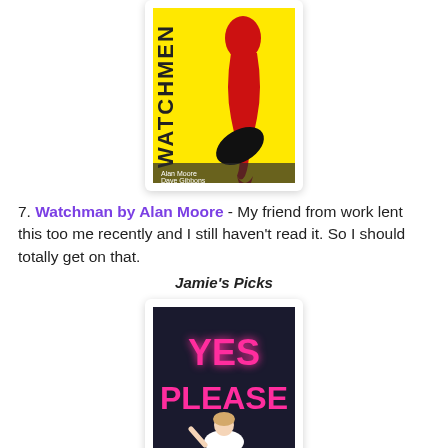[Figure (illustration): Book cover of Watchmen by Alan Moore: yellow background with a smiley face button dripping red blood and a black bullet shape]
7. Watchman by Alan Moore - My friend from work lent this too me recently and I still haven't read it. So I should totally get on that.
Jamie's Picks
[Figure (illustration): Book cover of Yes Please by Amy Poehler: dark background with neon pink text YES PLEASE and Amy Poehler sitting on the floor]